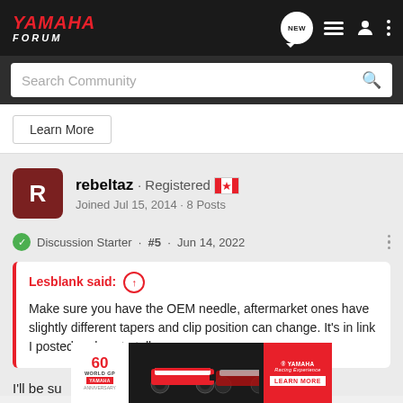YAMAHA FORUM
Search Community
Learn More
rebeltaz · Registered
Joined Jul 15, 2014 · 8 Posts
Discussion Starter · #5 · Jun 14, 2022
Lesblank said:
Make sure you have the OEM needle, aftermarket ones have slightly different tapers and clip position can change. It's in link I posted on how to tell.
I'll be su
[Figure (screenshot): Yamaha 60 World GP anniversary advertisement banner with racing motorcycles]